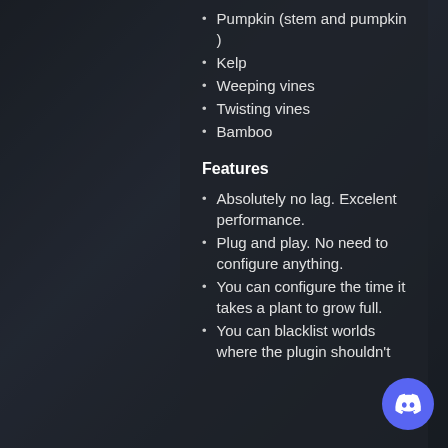Pumpkin (stem and pumpkin )
Kelp
Weeping vines
Twisting vines
Bamboo
Features
Absolutely no lag. Excelent performance.
Plug and play. No need to configure anything.
You can configure the time it takes a plant to grow full.
You can blacklist worlds where the plugin shouldn't